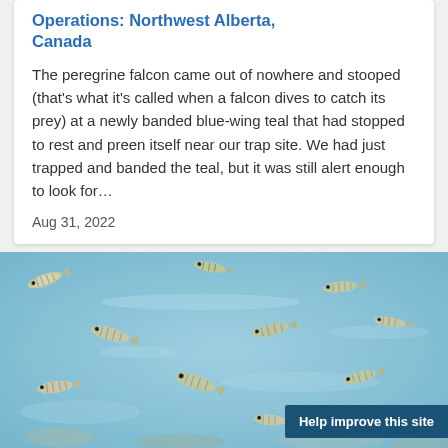Operations: Northwest Alberta, Canada
The peregrine falcon came out of nowhere and stooped (that's what it's called when a falcon dives to catch its prey) at a newly banded blue-wing teal that had stopped to rest and preen itself near our trap site. We had just trapped and banded the teal, but it was still alert enough to look for...
Aug 31, 2022
[Figure (photo): Photograph of small fish (likely juvenile salmon or similar species) swimming in shallow water with a blue-tinted background.]